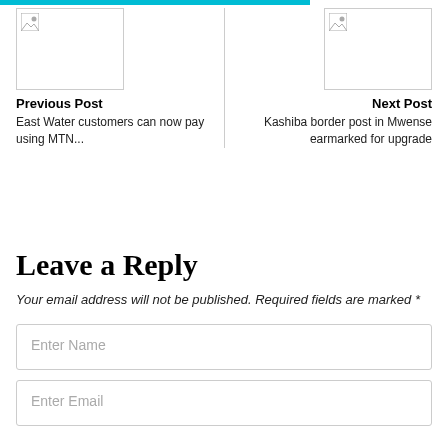[Figure (other): Broken image placeholder on left side for previous post]
Previous Post
East Water customers can now pay using MTN...
[Figure (other): Broken image placeholder on right side for next post]
Next Post
Kashiba border post in Mwense earmarked for upgrade
Leave a Reply
Your email address will not be published. Required fields are marked *
Enter Name
Enter Email